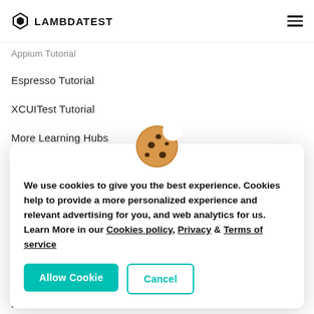LAMBDATEST
Appium Tutorial
Espresso Tutorial
XCUITest Tutorial
More Learning Hubs
[Figure (illustration): Cookie emoji icon]
We use cookies to give you the best experience. Cookies help to provide a more personalized experience and relevant advertising for you, and web analytics for us. Learn More in our Cookies policy, Privacy & Terms of service
Allow Cookie
Cancel
Partners